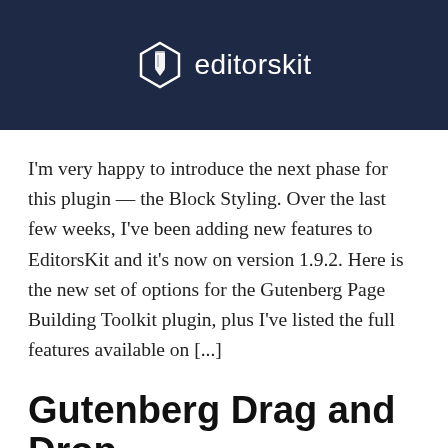[Figure (logo): EditorsKit logo: a hexagonal pencil icon in white on dark navy background, followed by the text 'editorskit' in white sans-serif font.]
I'm very happy to introduce the next phase for this plugin — the Block Styling. Over the last few weeks, I've been adding new features to EditorsKit and it's now on version 1.9.2. Here is the new set of options for the Gutenberg Page Building Toolkit plugin, plus I've listed the full features available on [...]
Gutenberg Drag and Drop